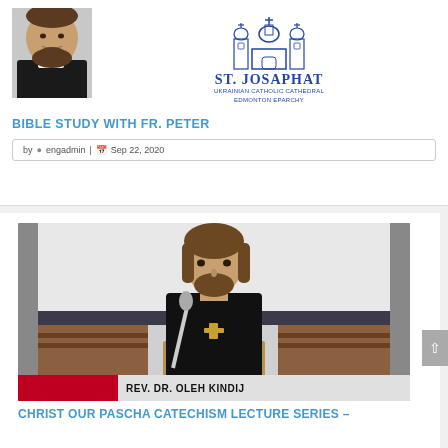[Figure (photo): Photo of a Catholic priest with beard and dark clerical collar, smiling]
[Figure (logo): St. Josaphat Ukrainian Catholic Cathedral Edmonton Eparchy logo with cathedral building icon]
BIBLE STUDY WITH FR. PETER
by engadmin | Sep 22, 2020
[Figure (photo): Rev. Dr. Oleh Kindij speaking at a podium during a lecture, wearing black clerical vestments with a cross pendant, with a lower-third graphic reading REV. DR. OLEH KINDIJ]
CHRIST OUR PASCHA CATECHISM LECTURE SERIES –